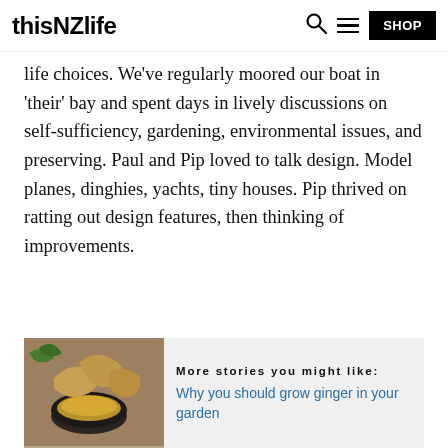thisNZlife  [search] [menu] SHOP
life choices. We've regularly moored our boat in 'their' bay and spent days in lively discussions on self-sufficiency, gardening, environmental issues, and preserving. Paul and Pip loved to talk design. Model planes, dinghies, yachts, tiny houses. Pip thrived on ratting out design features, then thinking of improvements.
[Figure (photo): Photo of ginger root and ground ginger powder in a dark bowl on a wooden surface]
More stories you might like: Why you should grow ginger in your garden
Their home is the most peaceful place. As the light fades, the kunekune pigs Jeanette breeds for sale snuffle off to bed, leaving just the soundtrack of the